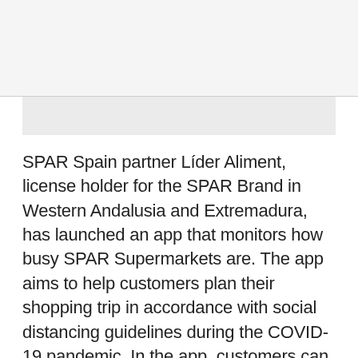[Figure (other): Top gray/white bar area — page header region with light gray background and a lighter gray banner below]
SPAR Spain partner Líder Aliment, license holder for the SPAR Brand in Western Andalusia and Extremadura, has launched an app that monitors how busy SPAR Supermarkets are. The app aims to help customers plan their shopping trip in accordance with social distancing guidelines during the COVID-19 pandemic. In the app, customers can choose their nearest store and obtain real-time occupancy that is classified into low, average, and high.